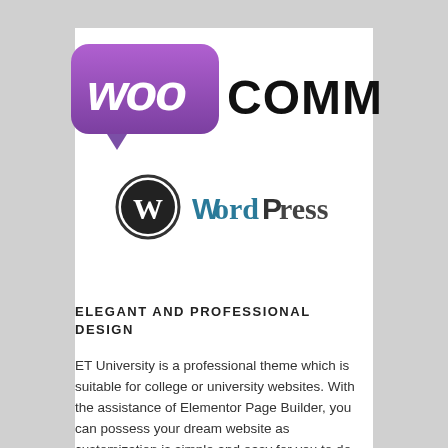[Figure (logo): WooCommerce logo — purple speech bubble with white 'Woo' script text, followed by bold black 'COMMERCE' text]
[Figure (logo): WordPress logo — circular black and white W emblem with 'WordPress' text in teal/dark style]
ELEGANT AND PROFESSIONAL DESIGN
ET University is a professional theme which is suitable for college or university websites. With the assistance of Elementor Page Builder, you can possess your dream website as customization is simple and easy for you to do